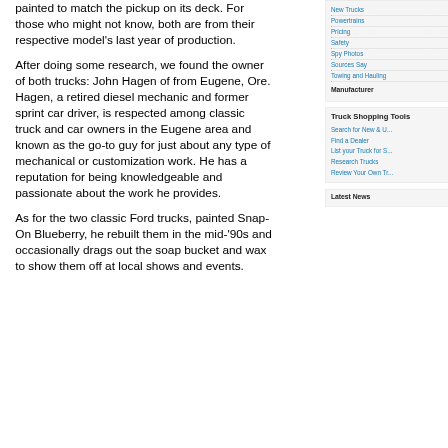painted to match the pickup on its deck. For those who might not know, both are from their respective model's last year of production.
After doing some research, we found the owner of both trucks: John Hagen of from Eugene, Ore. Hagen, a retired diesel mechanic and former sprint car driver, is respected among classic truck and car owners in the Eugene area and known as the go-to guy for just about any type of mechanical or customization work. He has a reputation for being knowledgeable and passionate about the work he provides.
As for the two classic Ford trucks, painted Snap-On Blueberry, he rebuilt them in the mid-'90s and occasionally drags out the soap bucket and wax to show them off at local shows and events.
New Trucks
Powertrains
Pricing
Safety
Spy Photos
Sources Say
Towing and Hauling
Manufacturer
Truck Shopping Tools
Search for New & U...
Find a Dealer
List your Truck for S...
Research Trucks
Review Your Own Tr...
Latest News